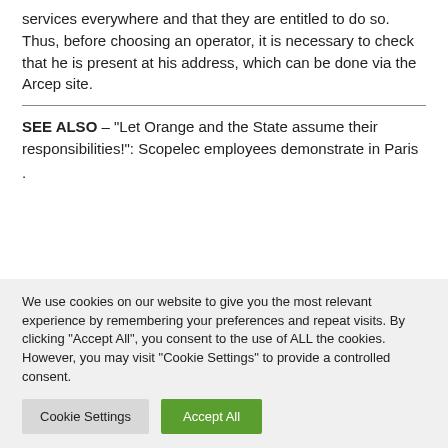services everywhere and that they are entitled to do so. Thus, before choosing an operator, it is necessary to check that he is present at his address, which can be done via the Arcep site.
SEE ALSO – “Let Orange and the State assume their responsibilities!”: Scopelec employees demonstrate in Paris
.
We use cookies on our website to give you the most relevant experience by remembering your preferences and repeat visits. By clicking “Accept All”, you consent to the use of ALL the cookies. However, you may visit "Cookie Settings" to provide a controlled consent.